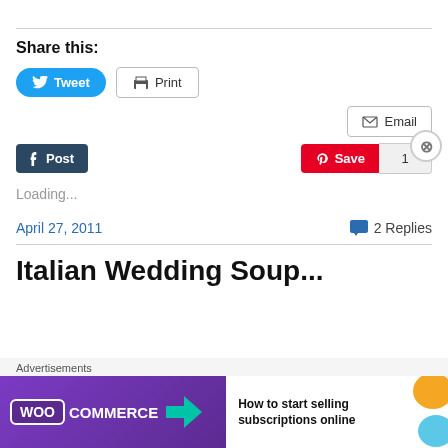Share this:
Tweet   Print
Email
Post   Save  1
Loading...
April 27, 2011    2 Replies
Italian Wedding Soup...
Advertisements
[Figure (infographic): WooCommerce advertisement banner: purple background with WooCommerce logo, green arrow, and text 'How to start selling subscriptions online']